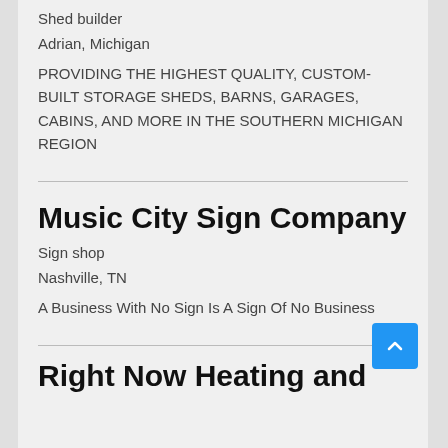Shed builder
Adrian, Michigan
PROVIDING THE HIGHEST QUALITY, CUSTOM-BUILT STORAGE SHEDS, BARNS, GARAGES, CABINS, AND MORE IN THE SOUTHERN MICHIGAN REGION
Music City Sign Company
Sign shop
Nashville, TN
A Business With No Sign Is A Sign Of No Business
Right Now Heating and